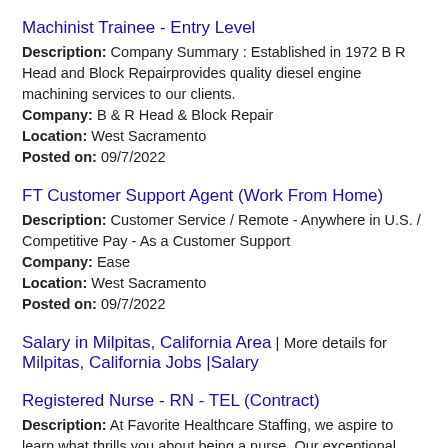Machinist Trainee - Entry Level
Description: Company Summary : Established in 1972 B R Head and Block Repairprovides quality diesel engine machining services to our clients.
Company: B & R Head & Block Repair
Location: West Sacramento
Posted on: 09/7/2022
FT Customer Support Agent (Work From Home)
Description: Customer Service / Remote - Anywhere in U.S. / Competitive Pay - As a Customer Support
Company: Ease
Location: West Sacramento
Posted on: 09/7/2022
Salary in Milpitas, California Area | More details for Milpitas, California Jobs |Salary
Registered Nurse - RN - TEL (Contract)
Description: At Favorite Healthcare Staffing, we aspire to learn what thrills you about being a nurse. Our exceptional recruiters thrive on the challenge of discovering the perfect position for you. From day one, (more...)